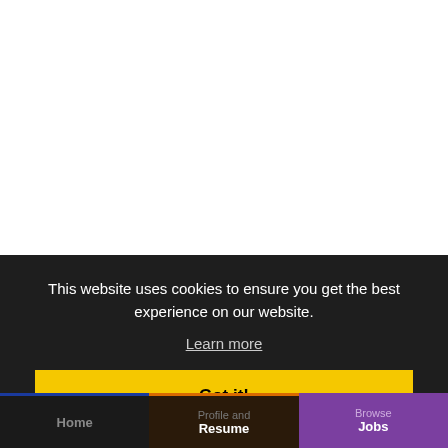[Figure (screenshot): White empty area representing a webpage background above a cookie consent banner]
This website uses cookies to ensure you get the best experience on our website.
Learn more
Got it!
Home | Profile and Resume | Browse Jobs